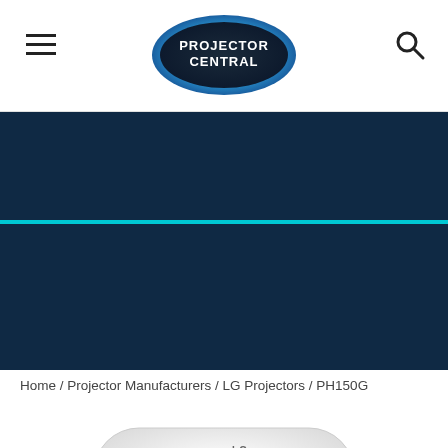Projector Central — navigation header with hamburger menu and search icon
[Figure (logo): Projector Central oval logo with blue gradient border and white text]
[Figure (photo): Dark navy blue banner background with cyan horizontal dividing line]
Home / Projector Manufacturers / LG Projectors / PH150G
[Figure (photo): LG PH150G portable projector, white rounded rectangular body, top-down angle view]